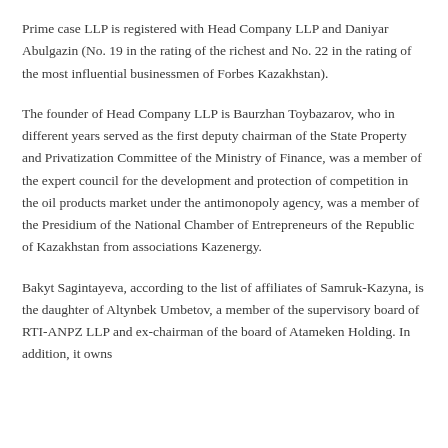Prime case LLP is registered with Head Company LLP and Daniyar Abulgazin (No. 19 in the rating of the richest and No. 22 in the rating of the most influential businessmen of Forbes Kazakhstan).
The founder of Head Company LLP is Baurzhan Toybazarov, who in different years served as the first deputy chairman of the State Property and Privatization Committee of the Ministry of Finance, was a member of the expert council for the development and protection of competition in the oil products market under the antimonopoly agency, was a member of the Presidium of the National Chamber of Entrepreneurs of the Republic of Kazakhstan from associations Kazenergy.
Bakyt Sagintayeva, according to the list of affiliates of Samruk-Kazyna, is the daughter of Altynbek Umbetov, a member of the supervisory board of RTI-ANPZ LLP and ex-chairman of the board of Atameken Holding. In addition, it owns